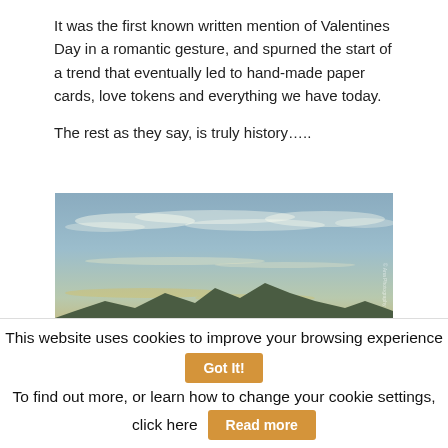It was the first known written mention of Valentines Day in a romantic gesture, and spurned the start of a trend that eventually led to hand-made paper cards, love tokens and everything we have today.

The rest as they say, is truly history…..
[Figure (photo): Wide landscape photograph of a sky with wispy clouds and mountain silhouettes at the bottom, in muted blue and golden tones. A watermark is visible on the right edge.]
This website uses cookies to improve your browsing experience  Got It!  To find out more, or learn how to change your cookie settings, click here  Read more